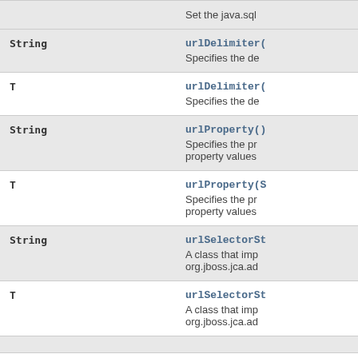| Type | Method/Description |
| --- | --- |
|  | Set the java.sql... |
| String | urlDelimiter(
Specifies the de... |
| T | urlDelimiter(
Specifies the de... |
| String | urlProperty()
Specifies the pr...
property values... |
| T | urlProperty(S
Specifies the pr...
property values... |
| String | urlSelectorSt...
A class that imp...
org.jboss.jca.ad... |
| T | urlSelectorSt...
A class that imp...
org.jboss.jca.ad... |
|  | ... |